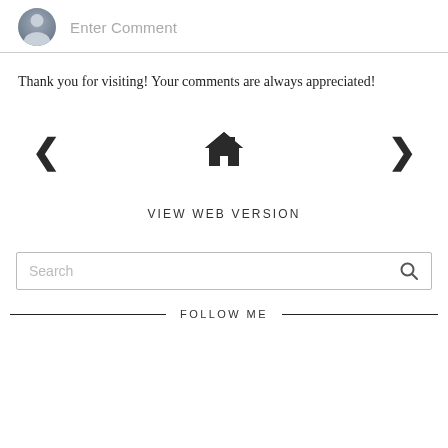[Figure (other): User avatar icon (grey silhouette circle) next to a grey placeholder text 'Enter Comment' with a bottom border line]
Thank you for visiting! Your comments are always appreciated!
[Figure (other): Navigation row with left chevron arrow, home icon, and right chevron arrow]
VIEW WEB VERSION
[Figure (other): Search box with 'Search' placeholder text and a magnifying glass icon on the right]
FOLLOW ME